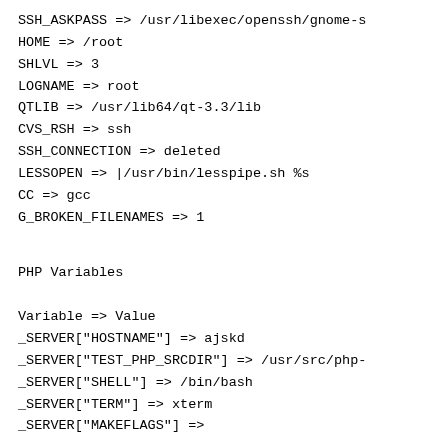SSH_ASKPASS => /usr/libexec/openssh/gnome-s
HOME => /root
SHLVL => 3
LOGNAME => root
QTLIB => /usr/lib64/qt-3.3/lib
CVS_RSH => ssh
SSH_CONNECTION => deleted
LESSOPEN => |/usr/bin/lesspipe.sh %s
CC => gcc
G_BROKEN_FILENAMES => 1
PHP Variables
Variable => Value
_SERVER["HOSTNAME"] => ajskd
_SERVER["TEST_PHP_SRCDIR"] => /usr/src/php-
_SERVER["SHELL"] => /bin/bash
_SERVER["TERM"] => xterm
_SERVER["MAKEFLAGS"] =>